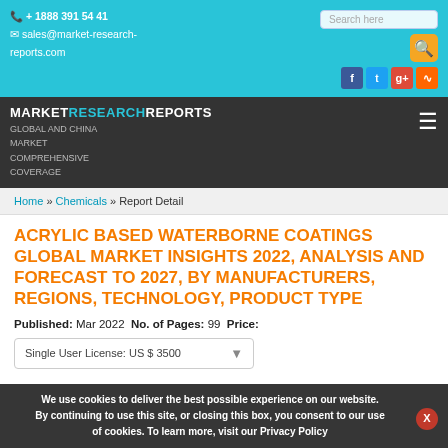+ 1888 391 54 41  sales@market-research-reports.com  Search here
MARKETRESEARCHREPORTS GLOBAL AND CHINA MARKET COMPREHENSIVE COVERAGE
Home » Chemicals » Report Detail
ACRYLIC BASED WATERBORNE COATINGS GLOBAL MARKET INSIGHTS 2022, ANALYSIS AND FORECAST TO 2027, BY MANUFACTURERS, REGIONS, TECHNOLOGY, PRODUCT TYPE
Published: Mar 2022 No. of Pages: 99 Price:
Single User License: US $ 3500
We use cookies to deliver the best possible experience on our website. By continuing to use this site, or closing this box, you consent to our use of cookies. To learn more, visit our Privacy Policy